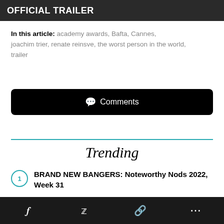[Figure (photo): Dark banner image with white bold text reading 'OFFICIAL TRAILER']
In this article: academy awards, Bafta, Cannes, joachim trier, renate reinsve, the worst person in the world, trailer
Comments
Trending
BRAND NEW BANGERS: Noteworthy Nods 2022, Week 31
0 Comments
ic Walk
AM'